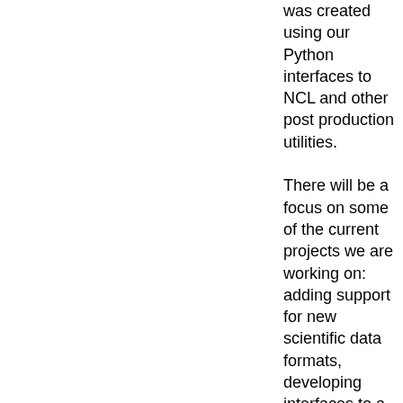was created using our Python interfaces to NCL and other post production utilities. There will be a focus on some of the current projects we are working on: adding support for new scientific data formats, developing interfaces to a suite of specialized climate analysis-related functions (that need to deal with missing data), and handling large files. On the less scientific side, there will be a quick mention of issues NCAR has with